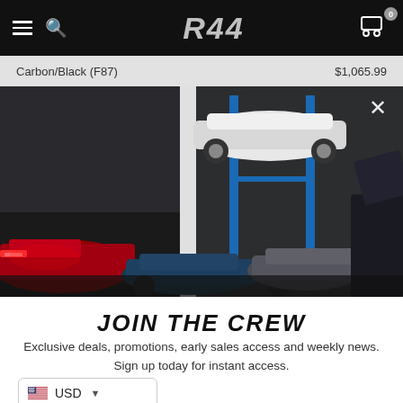R44 navigation bar with hamburger menu, search icon, R44 logo, and cart icon (0 items)
Carbon/Black (F87)
$1,065.99
[Figure (photo): Automotive garage scene showing multiple performance cars: a white BMW on a two-post lift, a red sports car (Toyota), a teal/blue performance sedan, a grey sports car, and a dark car with hood open on the right. Dark brick wall background with blue lift structure.]
JOIN THE CREW
Exclusive deals, promotions, early sales access and weekly news. Sign up today for instant access.
USD